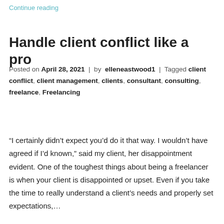Continue reading
Handle client conflict like a pro
Posted on April 28, 2021 | by elleneastwood1 | Tagged client conflict, client management, clients, consultant, consulting, freelance, Freelancing
“I certainly didn’t expect you’d do it that way. I wouldn’t have agreed if I’d known,” said my client, her disappointment evident. One of the toughest things about being a freelancer is when your client is disappointed or upset. Even if you take the time to really understand a client’s needs and properly set expectations,...